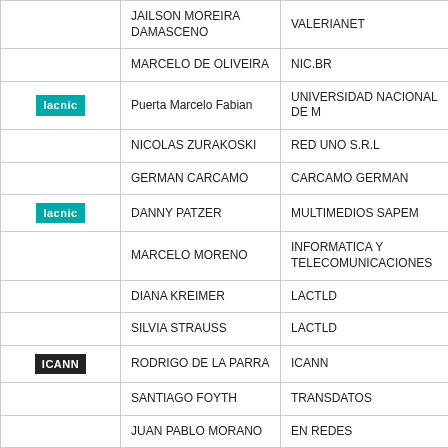|  | Name | Organization |
| --- | --- | --- |
|  | JAILSON MOREIRA DAMASCENO | VALERIANET |
|  | MARCELO DE OLIVEIRA | NIC.BR |
| lacnic | Puerta Marcelo Fabian | UNIVERSIDAD NACIONAL DE M |
|  | NICOLAS ZURAKOSKI | RED UNO S.R.L |
|  | GERMAN CARCAMO | CARCAMO GERMAN |
| lacnic | DANNY PATZER | MULTIMEDIOS SAPEM |
|  | MARCELO MORENO | INFORMATICA Y TELECOMUNICACIONES |
|  | DIANA KREIMER | LACTLD |
|  | SILVIA STRAUSS | LACTLD |
| ICANN | RODRIGO DE LA PARRA | ICANN |
|  | SANTIAGO FOYTH | TRANSDATOS |
|  | JUAN PABLO MORANO | EN REDES |
|  | CECILIA FERRARIS | TRANSDATOS |